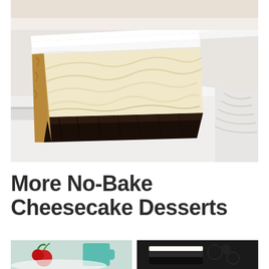[Figure (photo): Close-up photo of a slice of no-bake cheesecake with a dark Oreo cookie crust on the bottom, creamy white cheesecake filling in the middle, and a smooth white topping, served on a white plate with a spatula or server visible underneath.]
More No-Bake Cheesecake Desserts
[Figure (photo): Small thumbnail photo on the left showing a dessert with red berries or cherries and a teal/blue cup in the background.]
[Figure (photo): Small thumbnail photo on the right showing a dark cheesecake or Oreo-based dessert.]